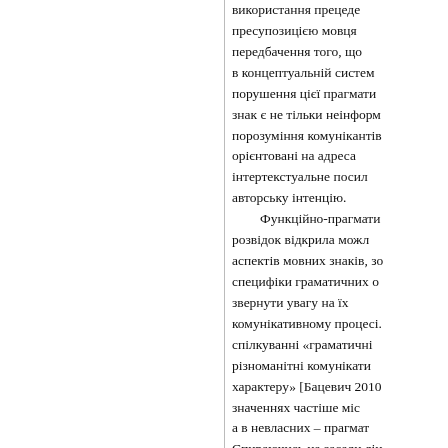використання прецеде пресупозицією мовця передбачення того, що в концептуальній систем порушення цієї прагмати знак є не тільки неінформ порозуміння комунікантів орієнтовані на адреса інтертекстуальне посил авторську інтенцію.
Функційно-прагмати розвідок відкрила можл аспектів мовних знаків, зо специфіки граматичних о звернути увагу на їх комунікативному процесі. спілкуванні «граматичні різноманітні комунікати характеру» [Бацевич 2010 значеннях частіше міс а в невласних – прагмат Спираючись на засади лін основою граматики актив Л. Щерби, Р. Якобсона Н. Гуйванюк, Г. Золотов О. Ремчукової та ін.), може засоби вираження оціні особливості з комуніка складова прагматичного